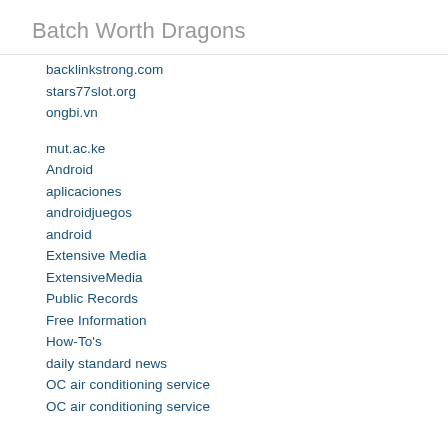Batch Worth Dragons
backlinkstrong.com
stars77slot.org
ongbi.vn
mut.ac.ke
Android
aplicaciones
androidjuegos
android
Extensive Media
ExtensiveMedia
Public Records
Free Information
How-To's
daily standard news
OC air conditioning service
OC air conditioning service